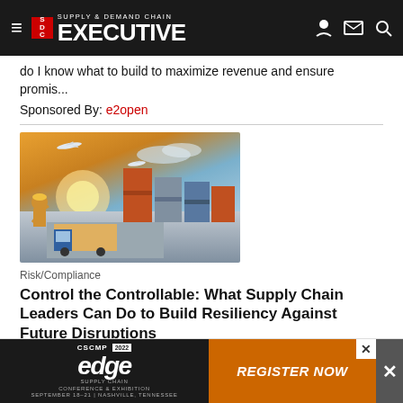Supply & Demand Chain Executive
do I know what to build to maximize revenue and ensure promis...
Sponsored By: e2open
[Figure (photo): Supply chain logistics scene with worker in hard hat, shipping containers, trucks, and aircraft in background]
Risk/Compliance
Control the Controllable: What Supply Chain Leaders Can Do to Build Resiliency Against Future Disruptions
Date: October... REGISTER...
[Figure (infographic): CSCMP 2022 Edge Supply Chain Conference & Exhibition advertisement banner with Register Now button]